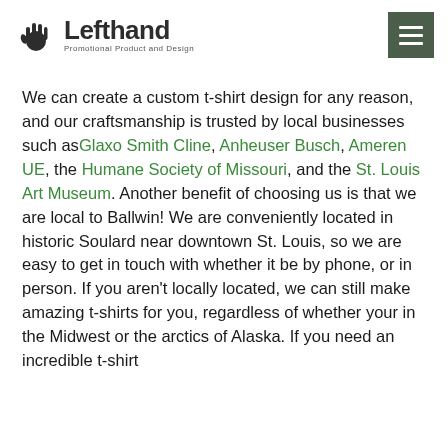Lefthand Promotional Product and Design
We can create a custom t-shirt design for any reason, and our craftsmanship is trusted by local businesses such as Glaxo Smith Cline, Anheuser Busch, Ameren UE, the Humane Society of Missouri, and the St. Louis Art Museum. Another benefit of choosing us is that we are local to Ballwin! We are conveniently located in historic Soulard near downtown St. Louis, so we are easy to get in touch with whether it be by phone, or in person. If you aren't locally located, we can still make amazing t-shirts for you, regardless of whether your in the Midwest or the arctics of Alaska. If you need an incredible t-shirt